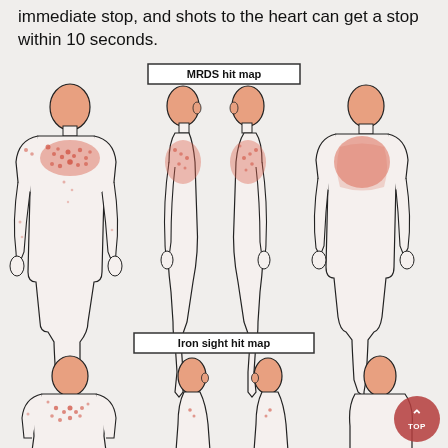immediate stop, and shots to the heart can get a stop within 10 seconds.
[Figure (illustration): MRDS hit map showing four human body diagrams (front, left side, right side, back) with highlighted red/pink zones on the upper chest/back area indicating hit zones. Labeled 'MRDS hit map'.]
[Figure (illustration): Iron sight hit map showing four human upper-body diagrams (front, left side, right side, back) with highlighted zones. Labeled 'Iron sight hit map'. Partially visible at bottom of page.]
TOP